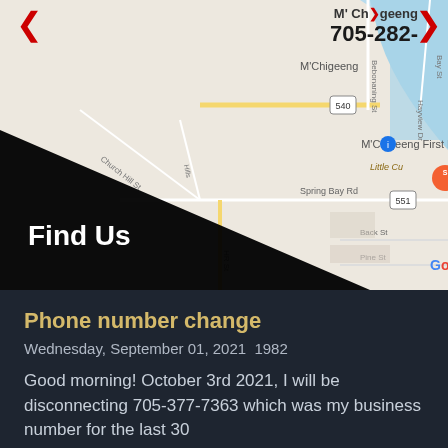[Figure (map): Google Maps screenshot showing M'Chigeeng First Nation area on Manitoulin Island, Ontario, with roads including Highway 540 and 551, Spring Bay Rd, Mnaaswnkiwad Dr, Back St, Pine St, Church Hill St, Bebonaning St, and landmarks including M'Chigeeng First Nation label, Seasons Family Restaurant, Google logo, and a lake to the right. A black diagonal overlay covers the lower-left corner with 'Find Us' text in white. Navigation arrows (red chevrons) appear top-left and top-right. A phone number overlay M'Chigeeng 705-282- appears in the top-right corner.]
Phone number change
Wednesday, September 01, 2021  1982
Good morning! October 3rd 2021, I will be disconnecting 705-377-7363 which was my business number for the last 30